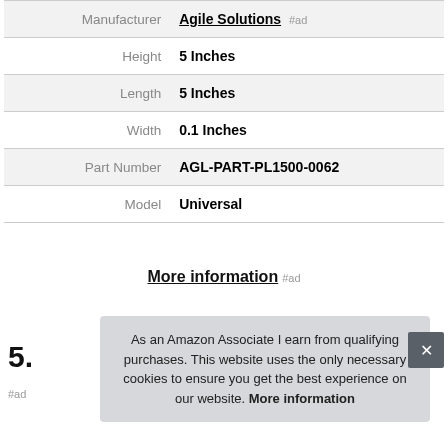| Attribute | Value |
| --- | --- |
| Manufacturer | Agile Solutions #ad |
| Height | 5 Inches |
| Length | 5 Inches |
| Width | 0.1 Inches |
| Part Number | AGL-PART-PL1500-0062 |
| Model | Universal |
More information #ad
5.
#ad
As an Amazon Associate I earn from qualifying purchases. This website uses the only necessary cookies to ensure you get the best experience on our website. More information